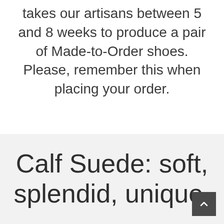takes our artisans between 5 and 8 weeks to produce a pair of Made-to-Order shoes. Please, remember this when placing your order.
Calf Suede: soft, splendid, unique.